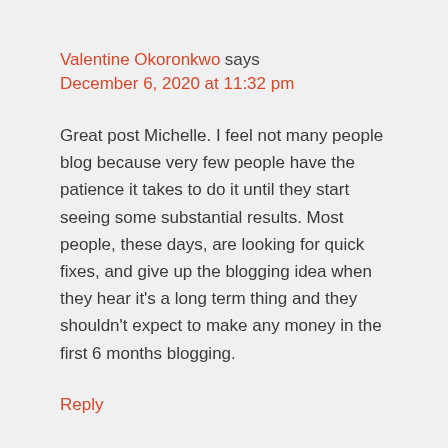Valentine Okoronkwo says
December 6, 2020 at 11:32 pm
Great post Michelle. I feel not many people blog because very few people have the patience it takes to do it until they start seeing some substantial results. Most people, these days, are looking for quick fixes, and give up the blogging idea when they hear it's a long term thing and they shouldn't expect to make any money in the first 6 months blogging.
Reply